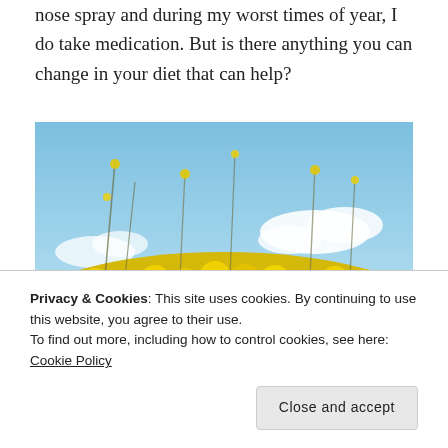nose spray and during my worst times of year, I do take medication. But is there anything you can change in your diet that can help?
[Figure (photo): Photograph of yellow flowering rapeseed plants against a blue sky with white clouds]
Privacy & Cookies: This site uses cookies. By continuing to use this website, you agree to their use.
To find out more, including how to control cookies, see here: Cookie Policy